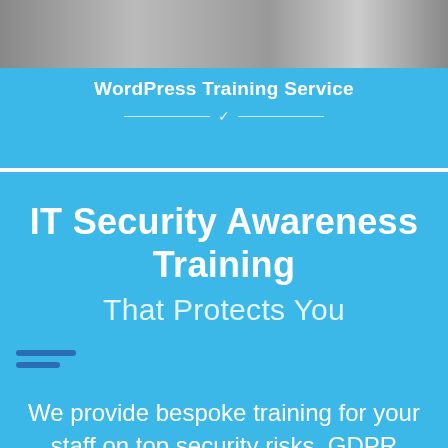[Figure (photo): Horizontal photo strip showing people in a training/office setting]
WordPress Training Service
IT Security Awareness Training
That Protects You
We provide bespoke training for your staff on top security risks, GDPR rules and how to avoid breaches. We can also generate security templates